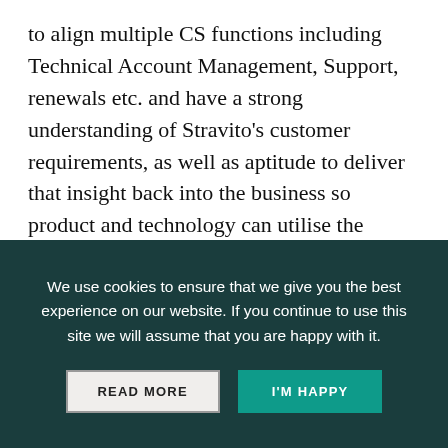to align multiple CS functions including Technical Account Management, Support, renewals etc. and have a strong understanding of Stravito's customer requirements, as well as aptitude to deliver that insight back into the business so product and technology can utilise the information effectively. Stravito needed someone who had been part of a high growth Enterprise B2B SaaS journey and had built and scaled the Customer Success function. It was also essential that it was someone who had scaled a customer centric organisation and had built and operationalised the
We use cookies to ensure that we give you the best experience on our website. If you continue to use this site we will assume that you are happy with it.
READ MORE   I'M HAPPY